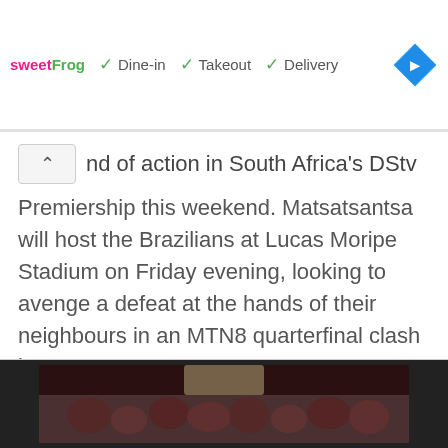[Figure (screenshot): Ad banner for sweetFrog restaurant showing green checkmarks with Dine-in, Takeout, and Delivery options, and a blue navigation diamond icon on the right]
nd of action in South Africa's DStv Premiership this weekend. Matsatsantsa will host the Brazilians at Lucas Moripe Stadium on Friday evening, looking to avenge a defeat at the hands of their neighbours in an MTN8 quarterfinal clash last ...
Read More »
[Figure (photo): Crowd/audience photo at bottom of page, partially visible]